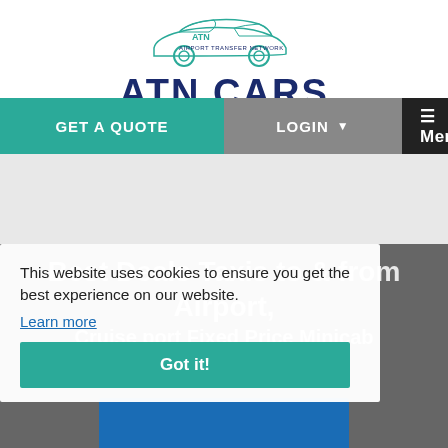[Figure (logo): ATN Cars - Airport Transfer Network logo with car illustration and text 'ATN CARS']
GET A QUOTE   LOGIN ▼   ☰ Menu
[Figure (photo): Gray banner/advertisement area]
Best Deals Taxis to & from Airport, Cruise port Fixed Price Minicab Transfers
This website uses cookies to ensure you get the best experience on our website. Learn more
Got it!
+